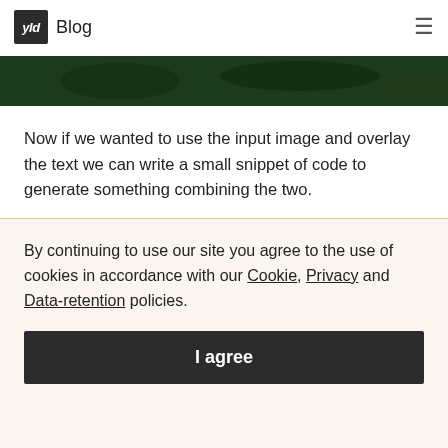yld Blog
[Figure (photo): Dark green toned image strip at top of article]
Now if we wanted to use the input image and overlay the text we can write a small snippet of code to generate something combining the two.
By continuing to use our site you agree to the use of cookies in accordance with our Cookie, Privacy and Data-retention policies.
I agree